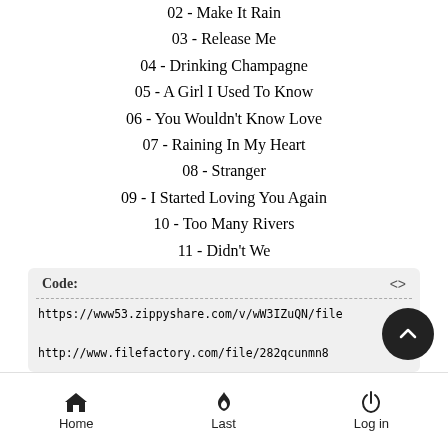02 - Make It Rain
03 - Release Me
04 - Drinking Champagne
05 - A Girl I Used To Know
06 - You Wouldn't Know Love
07 - Raining In My Heart
08 - Stranger
09 - I Started Loving You Again
10 - Too Many Rivers
11 - Didn't We
Code: https://www53.zippyshare.com/v/wW3IZuQN/file
http://www.filefactory.com/file/282qcunmn8
Home   Last   Log in